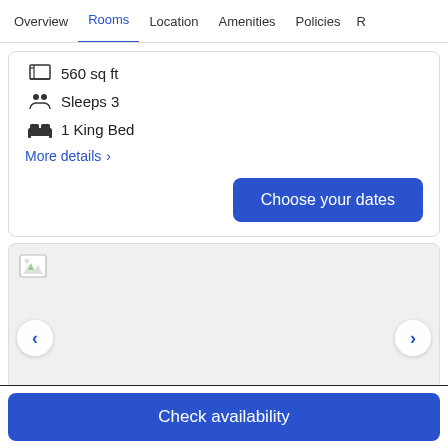Overview | Rooms | Location | Amenities | Policies | R
560 sq ft
Sleeps 3
1 King Bed
More details >
Choose your dates
[Figure (photo): Broken image placeholder for room photo carousel with left and right navigation arrows and a photo count badge showing 4 photos]
Check availability